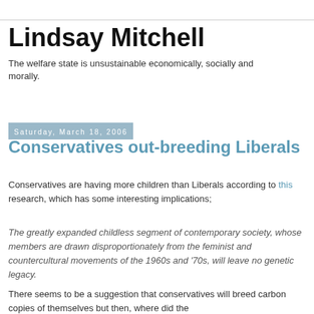Lindsay Mitchell
The welfare state is unsustainable economically, socially and morally.
Saturday, March 18, 2006
Conservatives out-breeding Liberals
Conservatives are having more children than Liberals according to this research, which has some interesting implications;
The greatly expanded childless segment of contemporary society, whose members are drawn disproportionately from the feminist and countercultural movements of the 1960s and '70s, will leave no genetic legacy.
There seems to be a suggestion that conservatives will breed carbon copies of themselves but then, where did the